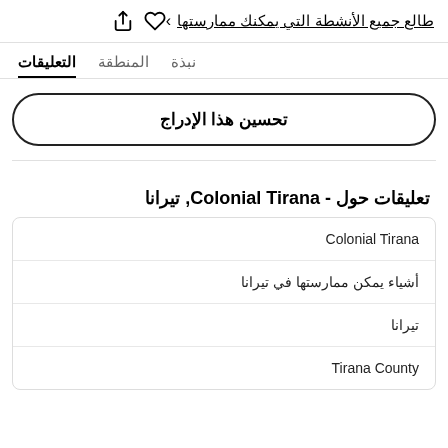طالع جميع الأنشطة التي يمكنك ممارستها
نبذة   المنطقة   التعليقات
تحسين هذا الإدراج
تعليقات حول - Colonial Tirana, تيرانا
| Colonial Tirana |
| أشياء يمكن ممارستها في تيرانا |
| تيرانا |
| Tirana County |